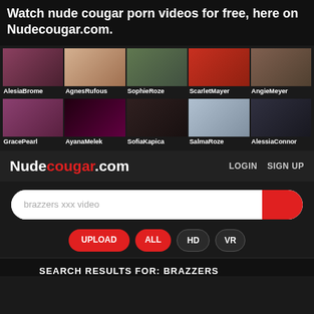Watch nude cougar porn videos for free, here on Nudecougar.com.
[Figure (photo): Grid of 5 female model thumbnails in row 1 with names: AlesiaBrome, AgnesRufous, SophieRoze, ScarletMayer, AngieMeyer]
[Figure (photo): Grid of 5 female model thumbnails in row 2 with names: GracePearl, AyanaMelek, SofiaKapica, SalmaRoze, AlessiaConnor]
Nudecougar.com LOGIN SIGN UP
brazzers xxx video
UPLOAD ALL HD VR
SEARCH RESULTS FOR: BRAZZERS